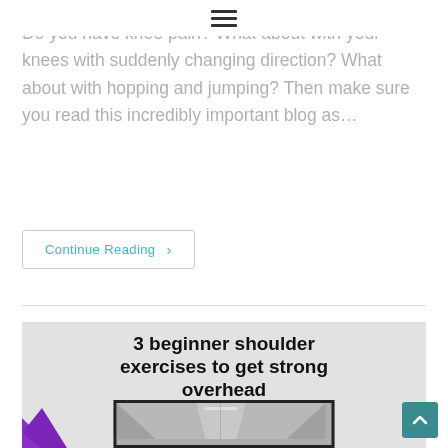≡ (hamburger menu icon)
Do you have knee pain? What about with hopping and jumping? Then make sure you read this incredibly important blog as…
Continue Reading ›
[Figure (screenshot): Article card with title '3 beginner shoulder exercises to get strong overhead' on a grey background with a hallway image below and a purple logo/mark on the bottom left.]